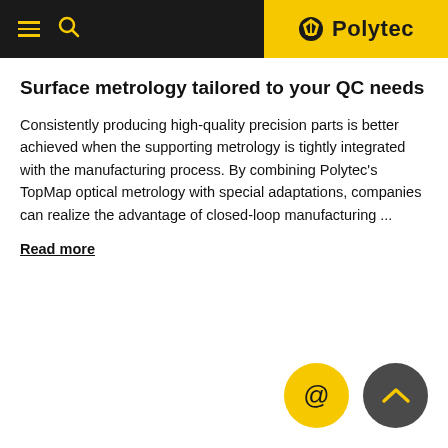Polytec
Surface metrology tailored to your QC needs
Consistently producing high-quality precision parts is better achieved when the supporting metrology is tightly integrated with the manufacturing process. By combining Polytec's TopMap optical metrology with special adaptations, companies can realize the advantage of closed-loop manufacturing ...
Read more
[Figure (other): Two circular icon buttons at bottom right: a yellow circle with @ symbol (email contact) and a dark grey circle with an upward chevron arrow (scroll to top)]